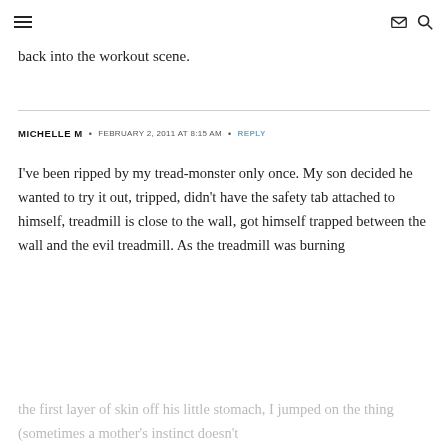[hamburger menu icon] [envelope icon] [search icon]
back into the workout scene.
MICHELLE M  •  FEBRUARY 2, 2011 AT 8:15 AM  •  REPLY
I've been ripped by my tread-monster only once. My son decided he wanted to try it out, tripped, didn't have the safety tab attached to himself, treadmill is close to the wall, got himself trapped between the wall and the evil treadmill. As the treadmill was burning the first layer of skin off his little stomach, I jumped on the thing (sometimes a mother's instinct doesn't